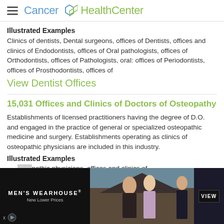Cancer HealthCenter
Illustrated Examples
Clinics of dentists, Dental surgeons, offices of Dentists, offices and clinics of Endodontists, offices of Oral pathologists, offices of Orthodontists, offices of Pathologists, oral: offices of Periodontists, offices of Prosthodontists, offices of
View Dentist Offices
15,031 Offices and Clinics of Doctors of Osteopathy
Establishments of licensed practitioners having the degree of D.O. and engaged in the practice of general or specialized osteopathic medicine and surgery. Establishments operating as clinics of osteopathic physicians are included in this industry.
Illustrated Examples
Osteopathic physicians, offices and clinics of
Osteopathy Offices & Clinics
[Figure (photo): Men's Wearhouse advertisement banner showing a couple in formal wear and a person in a suit, with 'VIEW' button and 'New Lower Prices' tagline]